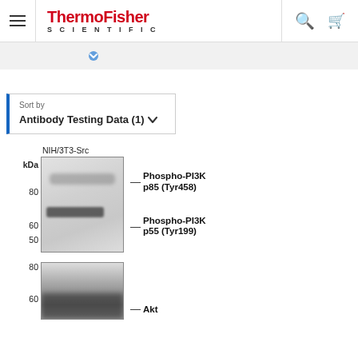ThermoFisher SCIENTIFIC
[Figure (screenshot): ThermoFisher Scientific website navigation bar with hamburger menu, logo, search icon, and cart icon]
[Figure (other): Gray dropdown/filter bar with blue chevron indicator]
Sort by
Antibody Testing Data (1)
[Figure (other): Western blot image showing two panels. Top panel: NIH/3T3-Src cell lysate with bands labeled Phospho-PI3K p85 (Tyr458) at ~80 kDa and Phospho-PI3K p55 (Tyr199) at ~60/50 kDa. Bottom panel: shows band labeled Akt at ~60 kDa.]